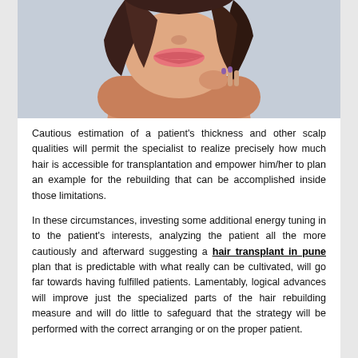[Figure (photo): Close-up portrait of a woman with dark hair, pink lips, touching her neck/chin with her hand against a light blue/grey background.]
Cautious estimation of a patient's thickness and other scalp qualities will permit the specialist to realize precisely how much hair is accessible for transplantation and empower him/her to plan an example for the rebuilding that can be accomplished inside those limitations.
In these circumstances, investing some additional energy tuning in to the patient's interests, analyzing the patient all the more cautiously and afterward suggesting a hair transplant in pune plan that is predictable with what really can be cultivated, will go far towards having fulfilled patients. Lamentably, logical advances will improve just the specialized parts of the hair rebuilding measure and will do little to safeguard that the strategy will be performed with the correct arranging or on the proper patient.